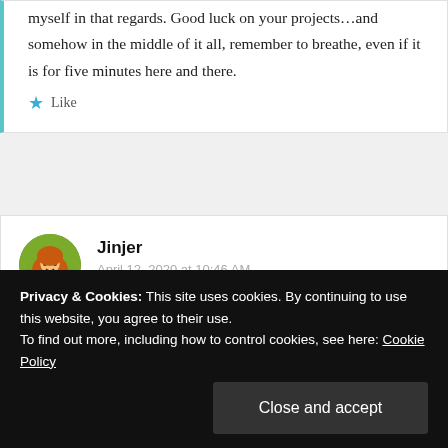myself in that regards. Good luck on your projects…and somehow in the middle of it all, remember to breathe, even if it is for five minutes here and there.
★ Like
Jinjer
April 12, 2020 at 10:46 AM
Privacy & Cookies: This site uses cookies. By continuing to use this website, you agree to their use.
To find out more, including how to control cookies, see here: Cookie Policy
Close and accept